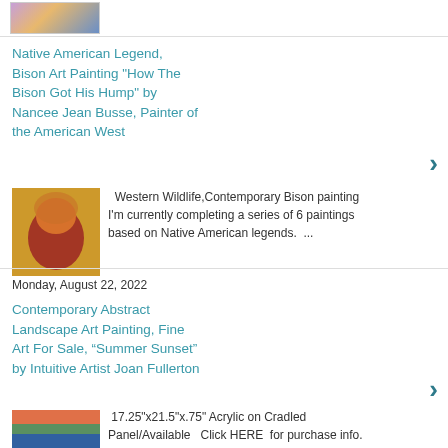[Figure (photo): Partial thumbnail of a painting at the top of the page]
Native American Legend, Bison Art Painting "How The Bison Got His Hump" by Nancee Jean Busse, Painter of the American West
[Figure (photo): Thumbnail image of a bison art painting with warm orange and gold tones]
Western Wildlife,Contemporary Bison painting I'm currently completing a series of 6 paintings based on Native American legends.  ...
Monday, August 22, 2022
Contemporary Abstract Landscape Art Painting, Fine Art For Sale, “Summer Sunset” by Intuitive Artist Joan Fullerton
[Figure (photo): Thumbnail of an abstract landscape painting with orange, green and blue tones]
17.25"x21.5"x.75" Acrylic on Cradled Panel/Available   Click HERE  for purchase info. Click HERE to learn about my ...